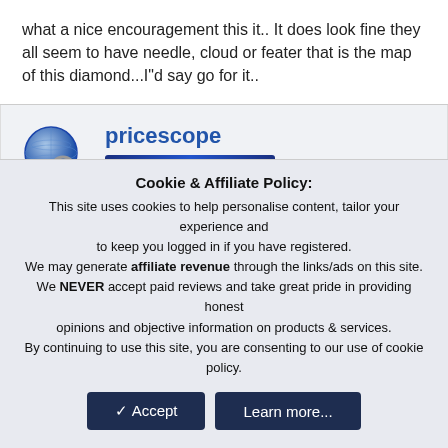what a nice encouragement this it.. It does look fine they all seem to have needle, cloud or feater that is the map of this diamond...I"d say go for it..
pricescope
[Figure (logo): Ideal Rock badge - blue gradient button with diamond icon and italic text 'Ideal Rock']
Dec 18, 2006  #9
Cookie & Affiliate Policy: This site uses cookies to help personalise content, tailor your experience and to keep you logged in if you have registered. We may generate affiliate revenue through the links/ads on this site. We NEVER accept paid reviews and take great pride in providing honest opinions and objective information on products & services. By continuing to use this site, you are consenting to our use of cookie policy.